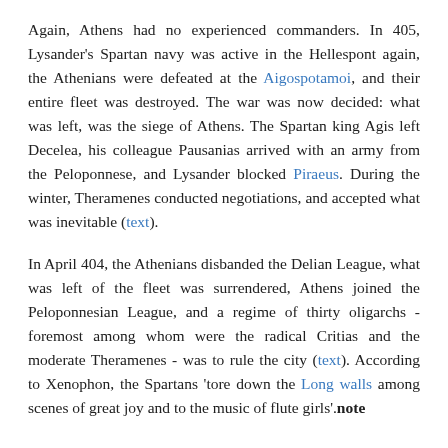Again, Athens had no experienced commanders. In 405, Lysander's Spartan navy was active in the Hellespont again, the Athenians were defeated at the Aigospotamoi, and their entire fleet was destroyed. The war was now decided: what was left, was the siege of Athens. The Spartan king Agis left Decelea, his colleague Pausanias arrived with an army from the Peloponnese, and Lysander blocked Piraeus. During the winter, Theramenes conducted negotiations, and accepted what was inevitable (text).
In April 404, the Athenians disbanded the Delian League, what was left of the fleet was surrendered, Athens joined the Peloponnesian League, and a regime of thirty oligarchs - foremost among whom were the radical Critias and the moderate Theramenes - was to rule the city (text). According to Xenophon, the Spartans 'tore down the Long walls among scenes of great joy and to the music of flute girls'.note